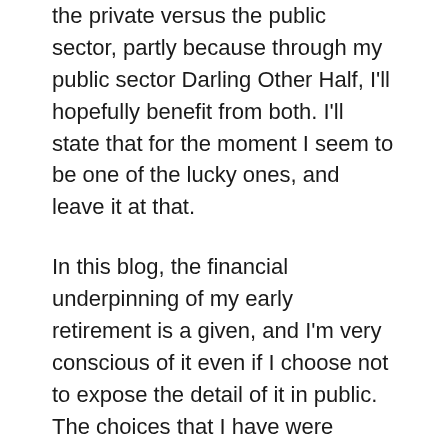the private versus the public sector, partly because through my public sector Darling Other Half, I'll hopefully benefit from both. I'll state that for the moment I seem to be one of the lucky ones, and leave it at that.
In this blog, the financial underpinning of my early retirement is a given, and I'm very conscious of it even if I choose not to expose the detail of it in public. The choices that I have were enabled by the personal workaholic and tight-wad decades that came before retirement, where I worked and saved, worked and saved and worked and saved, until I'd had enough of that lifestyle.  Plenty of bloggers are focused on those aspects of working and saving and funding early retirement, so I tend to focus on the non-financial ups and downs of this kind of life, where fifty years of playing